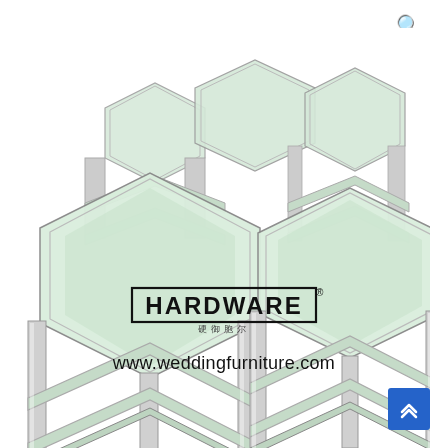[Figure (photo): Set of hexagonal glass-topped coffee tables with chrome/silver metal frames, featuring multiple glass shelves, shown arranged in a cluster pattern. Five hexagonal tables of varying sizes nested together.]
[Figure (logo): HARDWARE brand logo with Chinese characters below, inside a rectangular border, with registered trademark symbol]
www.weddingfurniture.com